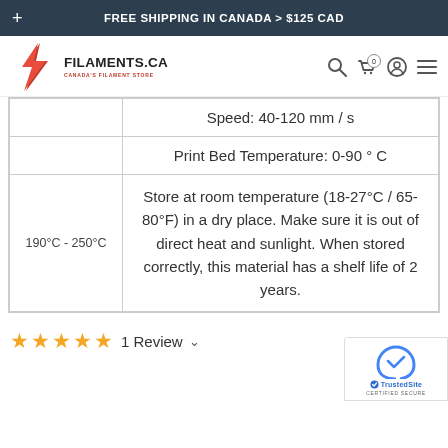FREE SHIPPING IN CANADA > $125 CAD
[Figure (logo): Filaments.ca logo with red lightning bolt icon and text FILAMENTS.CA, Canada's Filament Store]
|  | Speed: 40-120 mm / s |
|  | Print Bed Temperature: 0-90 ° C |
| 190°C - 250°C | Store at room temperature (18-27°C / 65-80°F) in a dry place. Make sure it is out of direct heat and sunlight. When stored correctly, this material has a shelf life of 2 years. |
1 Review
[Figure (logo): TrustedSite Certified Secure badge with reCAPTCHA icon]